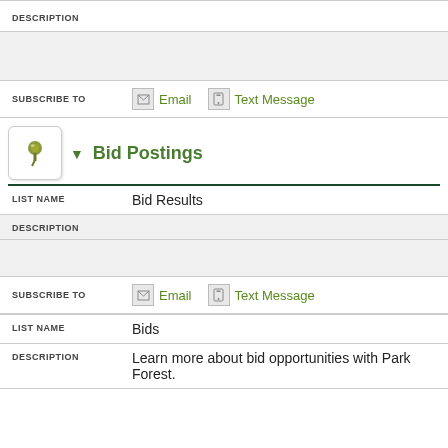DESCRIPTION
SUBSCRIBE TO  Email  Text Message
▼ Bid Postings
| Field | Value |
| --- | --- |
| LIST NAME | Bid Results |
| DESCRIPTION |  |
| SUBSCRIBE TO | Email  Text Message |
| LIST NAME | Bids |
| DESCRIPTION | Learn more about bid opportunities with Park Forest. |